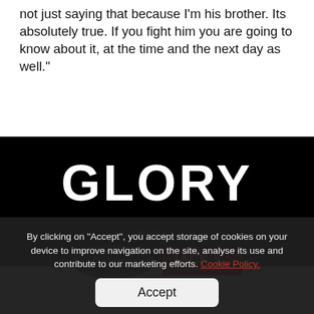not just saying that because I'm his brother. Its absolutely true. If you fight him you are going to know about it, at the time and the next day as well."
[Figure (logo): GLORY kickboxing organization logo — white bold text 'GLORY' on black background]
Partners
[Figure (logo): Fairtex logo — oval emblem with script text 'Fairtex' on dark background]
[Figure (logo): Jack's Casino & Sports logo — red rectangle with white serif text 'JACK'S' and small text 'CASINO & SPORTS']
By clicking on "Accept", you accept storage of cookies on your device to improve navigation on the site, analyse its use and contribute to our marketing efforts. Cookie Policy.
Accept